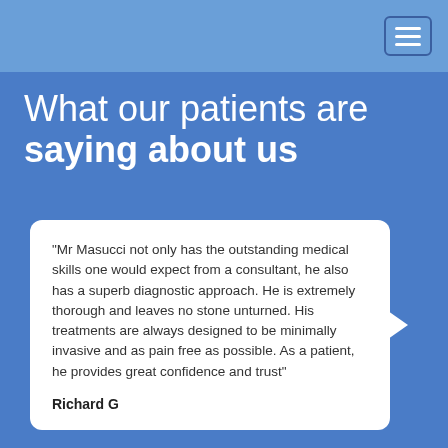What our patients are saying about us
“Mr Masucci not only has the outstanding medical skills one would expect from a consultant, he also has a superb diagnostic approach. He is extremely thorough and leaves no stone unturned. His treatments are always designed to be minimally invasive and as pain free as possible. As a patient, he provides great confidence and trust”

Richard G